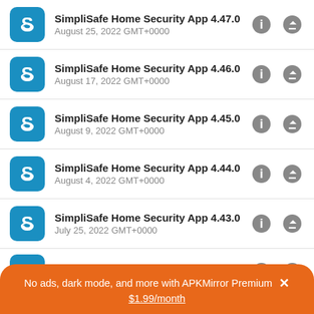SimpliSafe Home Security App 4.47.0 | August 25, 2022 GMT+0000
SimpliSafe Home Security App 4.46.0 | August 17, 2022 GMT+0000
SimpliSafe Home Security App 4.45.0 | August 9, 2022 GMT+0000
SimpliSafe Home Security App 4.44.0 | August 4, 2022 GMT+0000
SimpliSafe Home Security App 4.43.0 | July 25, 2022 GMT+0000
SimpliSafe Home Security App 4.42.0
No ads, dark mode, and more with APKMirror Premium × $1.99/month